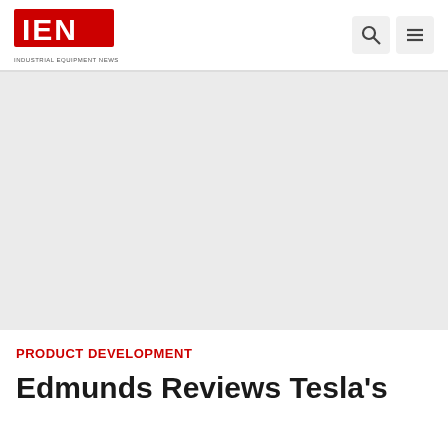IEN INDUSTRIAL EQUIPMENT NEWS
[Figure (other): Gray advertisement banner placeholder area]
PRODUCT DEVELOPMENT
Edmunds Reviews Tesla's